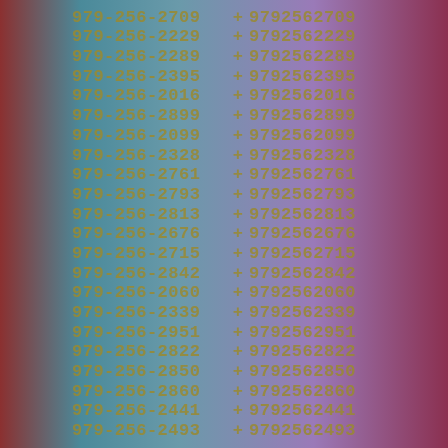979-256-2709 + 9792562709
979-256-2229 + 9792562229
979-256-2289 + 9792562289
979-256-2395 + 9792562395
979-256-2016 + 9792562016
979-256-2899 + 9792562899
979-256-2099 + 9792562099
979-256-2328 + 9792562328
979-256-2761 + 9792562761
979-256-2793 + 9792562793
979-256-2813 + 9792562813
979-256-2676 + 9792562676
979-256-2715 + 9792562715
979-256-2842 + 9792562842
979-256-2060 + 9792562060
979-256-2339 + 9792562339
979-256-2951 + 9792562951
979-256-2822 + 9792562822
979-256-2850 + 9792562850
979-256-2860 + 9792562860
979-256-2441 + 9792562441
979-256-2493 + 9792562493